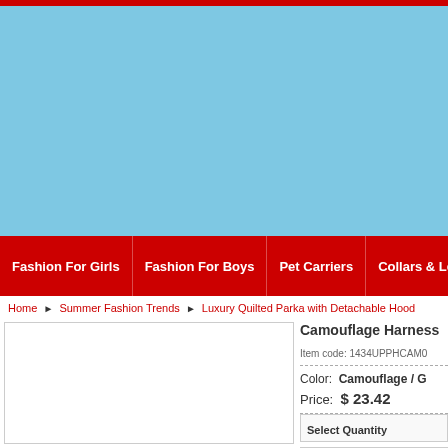Fashion For Girls | Fashion For Boys | Pet Carriers | Collars & Leads
Home ▶ Summer Fashion Trends ▶ Luxury Quilted Parka with Detachable Hood
[Figure (photo): Product image area (white/blank)]
Camouflage Harness
Item code: 1434UPPHCAM0
Color: Camouflage / G
Price: $ 23.42
Product info
Select Chest Circumt
Select Size...
Select Quantity